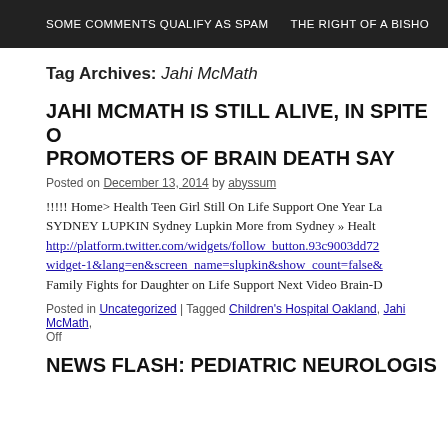SOME COMMENTS QUALIFY AS SPAM   THE RIGHT OF A BISHO
Tag Archives: Jahi McMath
JAHI McMATH IS STILL ALIVE, IN SPITE OF WHAT PROMOTERS OF BRAIN DEATH SAY
Posted on December 13, 2014 by abyssum
!!!!! Home> Health Teen Girl Still On Life Support One Year La… SYDNEY LUPKIN Sydney Lupkin More from Sydney » Health http://platform.twitter.com/widgets/follow_button.93c9003dd72… widget-1&lang=en&screen_name=slupkin&show_count=false& Family Fights for Daughter on Life Support Next Video Brain-D
Posted in Uncategorized | Tagged Children's Hospital Oakland, Jahi McMath, … Off
NEWS FLASH: PEDIATRIC NEUROLOGIS…